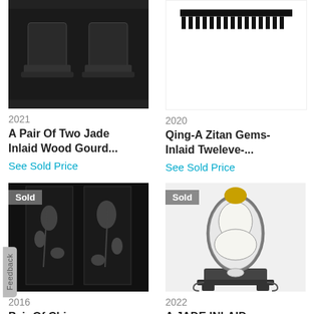[Figure (photo): Two black jade inlaid wood gourd items on stands]
2021
A Pair Of Two Jade Inlaid Wood Gourd...
See Sold Price
[Figure (photo): Qing Zitan gems-inlaid twelve piece item with comb-like top]
2020
Qing-A Zitan Gems-Inlaid Tweleve-...
See Sold Price
[Figure (photo): Pair of Chinese black wood screens with inlaid floral designs, Sold badge]
2016
Pair Of Chinese Wood Screen W/...
See Sold Price
[Figure (photo): A jade inlaid cloisonne piece with gourd-shaped white jade plaque on decorative stand, Sold badge]
2022
A JADE INLAID CLOISONNE...
See Sold Price